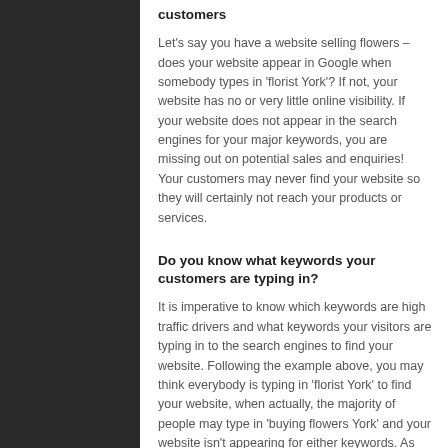customers
Let's say you have a website selling flowers – does your website appear in Google when somebody types in 'florist York'?  If not, your website has no or very little online visibility.  If your website does not appear in the search engines for your major keywords, you are missing out on potential sales and enquiries!  Your customers may never find your website so they will certainly not reach your products or services.
Do you know what keywords your customers are typing in?
It is imperative to know which keywords are high traffic drivers and what keywords your visitors are typing in to the search engines to find your website. Following the example above, you may think everybody is typing in 'florist York' to find your website, when actually, the majority of people may type in 'buying flowers York' and your website isn't appearing for either keywords. As part of a successful SEO campaign, detailed keyword